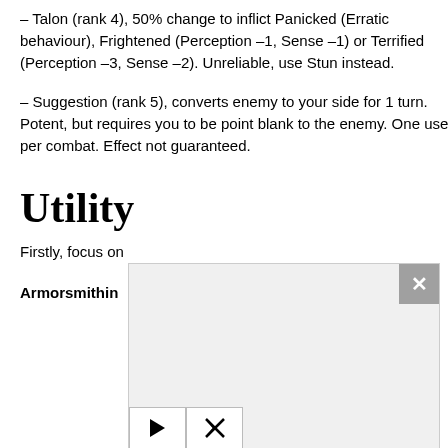– Talon (rank 4), 50% change to inflict Panicked (Erratic behaviour), Frightened (Perception –1, Sense –1) or Terrified (Perception –3, Sense –2). Unreliable, use Stun instead.
– Suggestion (rank 5), converts enemy to your side for 1 turn. Potent, but requires you to be point blank to the enemy. One use per combat. Effect not guaranteed.
Utility
Firstly, focus on
Armorsmithin
[Figure (screenshot): A modal/overlay panel on the page with a close button (×) in the top-right corner and two control buttons (play and mute/disabled) at the bottom-left.]